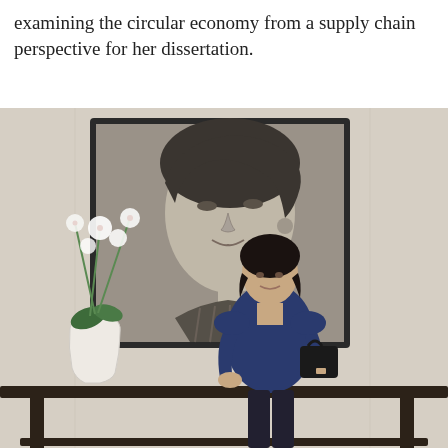examining the circular economy from a supply chain perspective for her dissertation.
[Figure (photo): A woman in a navy blue top stands in front of a large framed black-and-white portrait of a woman's face on a cream wall. To the left is a white vase with white orchids on a dark wooden console table.]